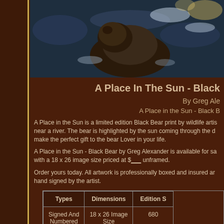[Figure (photo): Photograph of a black bear near a river with sunlight on the water, partially cropped with watermark text visible]
A Place In The Sun - Black
By Greg Ale
A Place in the Sun - Black B
A Place in the Sun is a limited edition Black Bear print by wildlife artis near a river. The bear is highlighted by the sun coming through the d make the perfect gift to the bear Lover in your life.
A Place in the Sun - Black Bear by Greg Alexander is available for sa with a 18 x 26 image size priced at $___ unframed.
Order yours today. All artwork is professionally boxed and insured ar hand signed by the artist.
| Types | Dimensions | Edition S |
| --- | --- | --- |
| Signed And Numbered Limited | 18 x 26 Image Size | 680 |